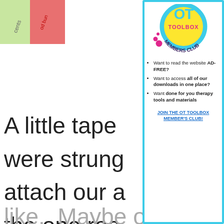[Figure (illustration): Partial view of colorful cards or papers on left side, partially obscured by modal]
A little tape... were strung... attach our a... the one rea... holiday ver... we can easily change the activities around based on what our day looks
like.  Maybe on a certain day, Christmas
[Figure (logo): OT Toolbox Members Club logo - yellow circle with pink and teal accents, text 'TOOLBOX MEMBERS CLUB' in dark letters]
Want to read the website AD-FREE?
Want to access all of our downloads in one place?
Want done for you therapy tools and materials
JOIN THE OT TOOLBOX MEMBER'S CLUB!